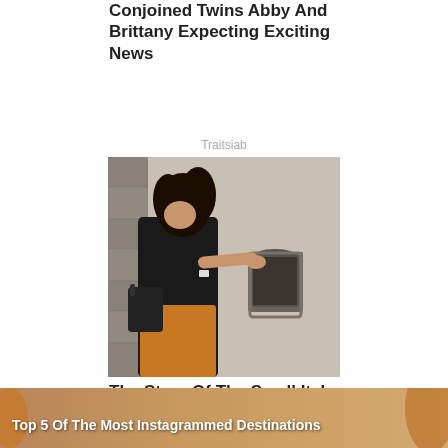Conjoined Twins Abby And Brittany Expecting Exciting News
Traitsiab
[Figure (photo): Woman with curly dark hair wearing a black t-shirt and orange skirt with a black crossbody bag, pointing her finger at a small arched window embedded in a stone wall in Italy.]
The Story Of The Small Italy Windows In The Walls Is Rather Grim
Brainberries
[Figure (photo): Banner image for article 'Top 5 Of The Most Instagrammed Destinations' with warm orange-toned background.]